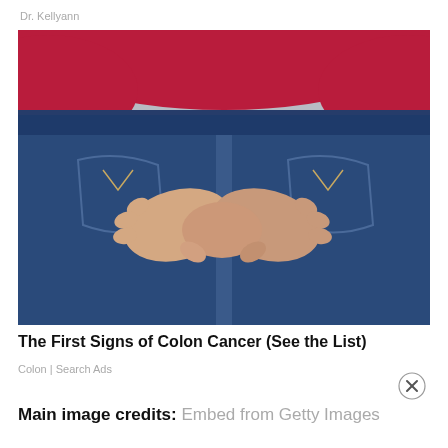Dr. Kellyann
[Figure (photo): Photo of a person from behind wearing a red long-sleeve top and blue denim jeans, with both hands clasped together behind their back near the lower back/hip area, suggesting abdominal or lower back discomfort. The background is a neutral grey.]
The First Signs of Colon Cancer (See the List)
Colon | Search Ads
Main image credits: Embed from Getty Images